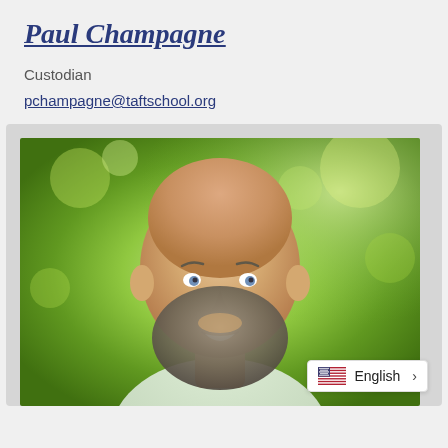Paul Champagne
Custodian
pchampagne@taftschool.org
[Figure (photo): Headshot portrait of Paul Champagne, a bald man with a beard, wearing a light-colored shirt, against a green bokeh outdoor background.]